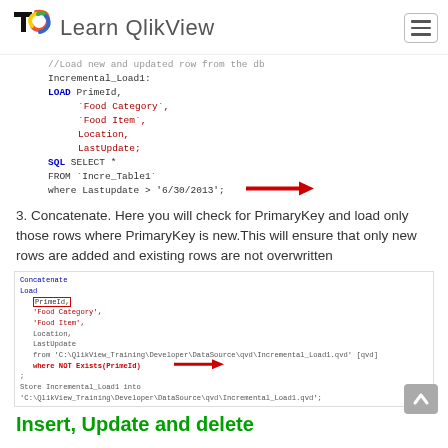Learn QlikView
[Figure (screenshot): Code block showing SQL LOAD script with Incremental_Load1, fields PrimeId, Food Category, Food Item, Location, LastUpdate, SQL SELECT * FROM Incre_Table1 where Lastupdate > '6/30/2013'; with red arrow pointing to the where clause]
3. Concatenate. Here you will check for PrimaryKey and load only those rows where PrimaryKey is new.This will ensure that only new rows are added and existing rows are not overwritten
[Figure (screenshot): Screenshot of Concatenate Load script with PrimeId highlighted in red box, fields Food Category, Food Item, Location, LastUpdate, from QVD file, where NOT Exists(PrimeId) with red arrow, Store statement, red arrow pointing to where NOT Exists line]
Insert, Update and delete